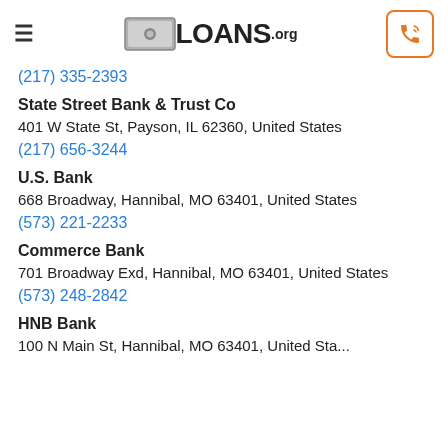≡ LOANS.org [phone icon]
(217) 335-2393
State Street Bank & Trust Co
401 W State St, Payson, IL 62360, United States
(217) 656-3244
U.S. Bank
668 Broadway, Hannibal, MO 63401, United States
(573) 221-2233
Commerce Bank
701 Broadway Exd, Hannibal, MO 63401, United States
(573) 248-2842
HNB Bank
100 N Main St, Hannibal, MO 63401, United Sta...